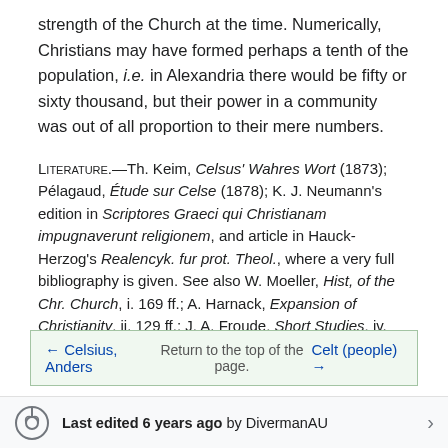strength of the Church at the time. Numerically, Christians may have formed perhaps a tenth of the population, i.e. in Alexandria there would be fifty or sixty thousand, but their power in a community was out of all proportion to their mere numbers.
LITERATURE.—Th. Keim, Celsus' Wahres Wort (1873); Pélagaud, Étude sur Celse (1878); K. J. Neumann's edition in Scriptores Graeci qui Christianam impugnaverunt religionem, and article in Hauck-Herzog's Realencyk. fur prot. Theol., where a very full bibliography is given. See also W. Moeller, Hist, of the Chr. Church, i. 169 ff.; A. Harnack, Expansion of Christianity, ii. 129 ff.; J. A. Froude, Short Studies, iv.
← Celsius, Anders Return to the top of the page. Celt (people) →
Last edited 6 years ago by DivermanAU